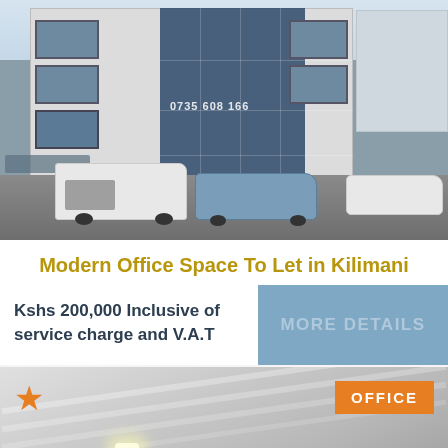[Figure (photo): Exterior photo of a modern multi-story office building with glass facade, cars parked in front including a white truck and blue sedan, phone number 0735 608 166 visible on the glass]
Modern Office Space To Let in Kilimani
Kshs 200,000 Inclusive of service charge and V.A.T
MORE DETAILS
[Figure (photo): Interior photo of modern office space showing white ceiling with recessed lighting, with orange star badge and OFFICE label overlay]